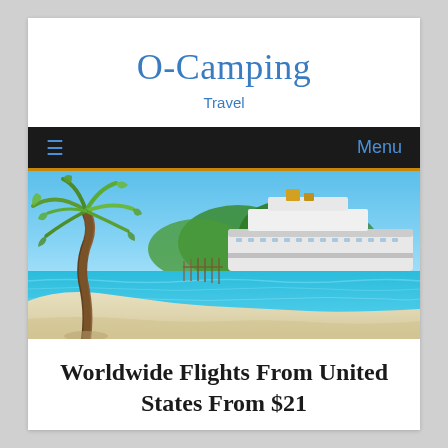O-Camping
Travel
≡   Menu
[Figure (photo): Tropical beach scene with a palm tree in the foreground on white sand, turquoise ocean water, and a large cruise ship docked at a pier with lush green trees in the background under a bright blue sky.]
Worldwide Flights From United States From $21